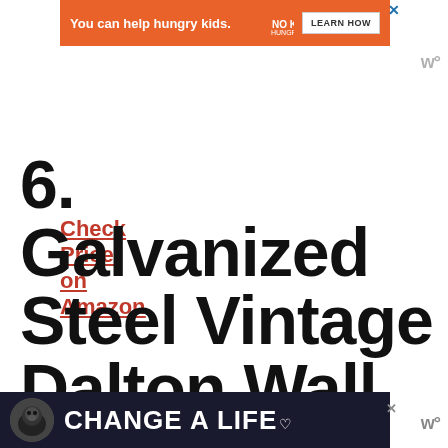[Figure (screenshot): Orange banner ad: 'You can help hungry kids.' with No Kid Hungry logo and LEARN HOW button]
Check Price on Amazon
6. Galvanized Steel Vintage Dalton Wall Box
[Figure (screenshot): Dark banner ad with dog image: 'CHANGE A LIFE' with heart icon]